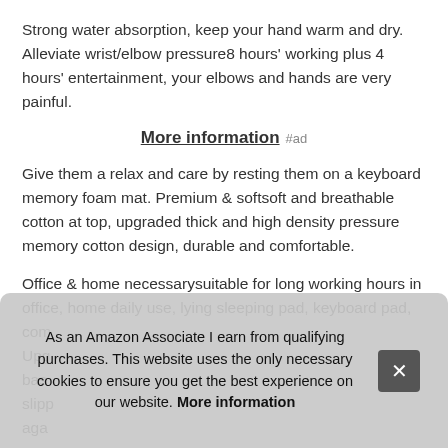Strong water absorption, keep your hand warm and dry. Alleviate wrist/elbow pressure8 hours' working plus 4 hours' entertainment, your elbows and hands are very painful.
More information #ad
Give them a relax and care by resting them on a keyboard memory foam mat. Premium & softsoft and breathable cotton at top, upgraded thick and high density pressure memory cotton design, durable and comfortable.
Office & home necessarysuitable for long working hours in office, home daily use, lying sleeping pad, keyboard pad, com... Upg... bas... slipp... aga...
As an Amazon Associate I earn from qualifying purchases. This website uses the only necessary cookies to ensure you get the best experience on our website. More information